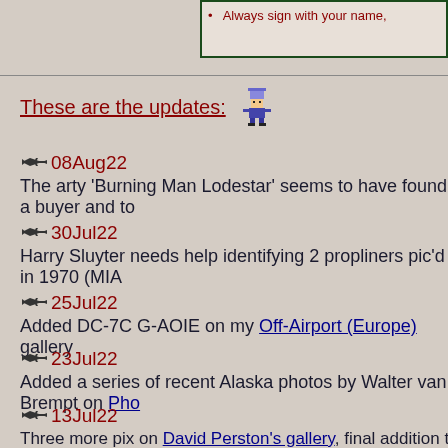Always sign with your name,
These are the updates:
08Aug22 - The arty 'Burning Man Lodestar' seems to have found a buyer and to
30Jul22 - Harry Sluyter needs help identifying 2 propliners pic'd in 1970 (MIA
25Jul22 - Added DC-7C G-AOIE on my Off-Airport (Europe) gallery
23Jul22 - Added a series of recent Alaska photos by Walter van Brempt on Pho
13Jul22 - Three more pix on David Perston's gallery, final addition to his Cana
10Jul22